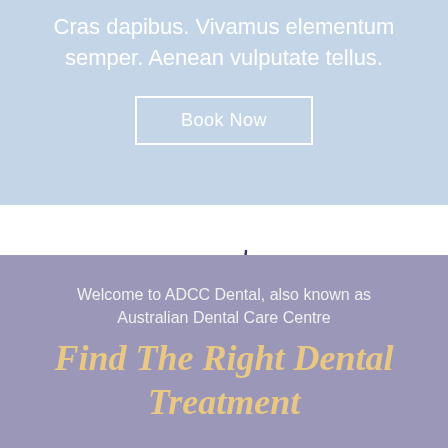Cras dapibus. Vivamus elementum semper. Aenean vulputate tellus.
Book Now
[Figure (other): Circular loading spinner arc, partially visible, dark navy outline on white background]
Welcome to ADCC Dental, also known as Australian Dental Care Centre
Find The Right Dental Treatment